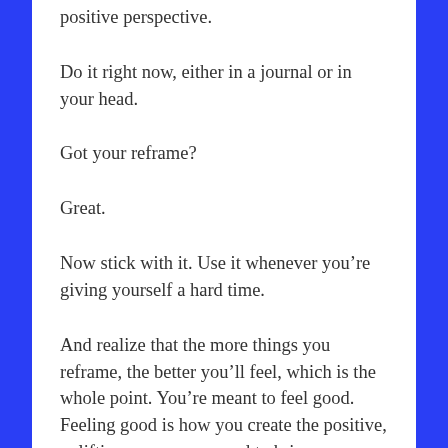positive perspective.
Do it right now, either in a journal or in your head.
Got your reframe?
Great.
Now stick with it. Use it whenever you’re giving yourself a hard time.
And realize that the more things you reframe, the better you’ll feel, which is the whole point. You’re meant to feel good. Feeling good is how you create the positive, uplifting energy you need to bring your dreams to life.
Plus, it feels pretty damn good not to be so hard on yourself all the time about every little thing. If you have